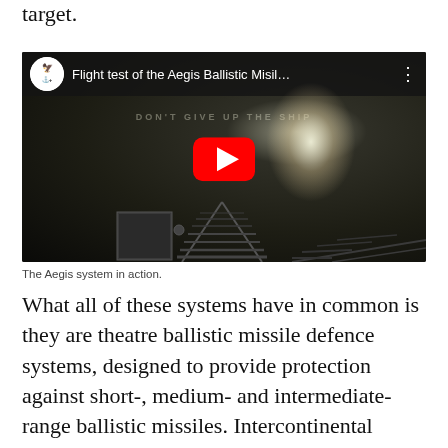target.
[Figure (screenshot): YouTube video embed showing a flight test of the Aegis Ballistic Missile Defense system. Title bar reads 'Flight test of the Aegis Ballistic Misil…' with a YouTube channel icon. The video frame shows a night-vision or infrared image of a missile launch with a bright light against a dark background, launcher rails visible in the foreground. A red YouTube play button is centered on the image.]
The Aegis system in action.
What all of these systems have in common is they are theatre ballistic missile defence systems, designed to provide protection against short-, medium- and intermediate-range ballistic missiles. Intercontinental ballistic missiles, such as the one